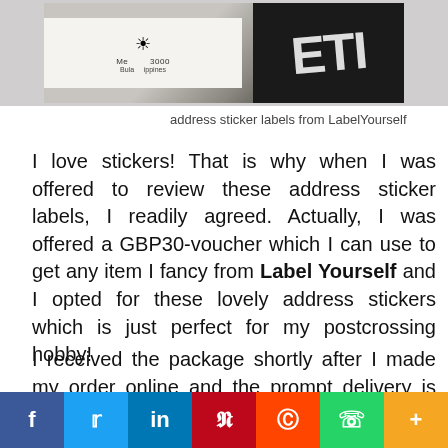[Figure (photo): Photo of address sticker labels showing a white label with sun icon and text 'Malolos 3000, Bulacan, Philippines' next to a dark black label with white lettering]
address sticker labels from LabelYourself
I love stickers! That is why when I was offered to review these address sticker labels, I readily agreed. Actually, I was offered a GBP30-voucher which I can use to get any item I fancy from Label Yourself and I opted for these lovely address stickers which is just perfect for my postcrossing hobby!
I received the package shortly after I made my order online and the prompt delivery is really a plus in my book considering these items came all the way from the UK!